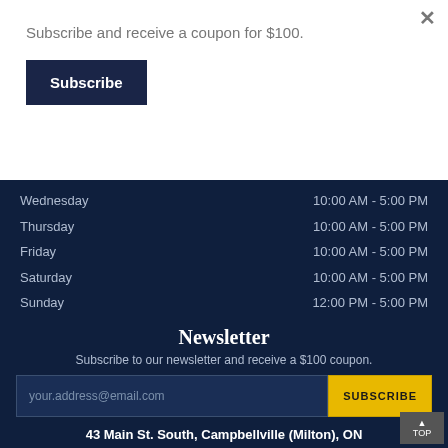Subscribe and receive a coupon for $100.
Subscribe
| Day | Hours |
| --- | --- |
| Wednesday | 10:00 AM - 5:00 PM |
| Thursday | 10:00 AM - 5:00 PM |
| Friday | 10:00 AM - 5:00 PM |
| Saturday | 10:00 AM - 5:00 PM |
| Sunday | 12:00 PM - 5:00 PM |
Newsletter
Subscribe to our newsletter and receive a $100 coupon.
your.address@email.com
SUBSCRIBE
43 Main St. South, Campbellville (Milton), ON
[Figure (map): Map showing Campbellville location]
TOP